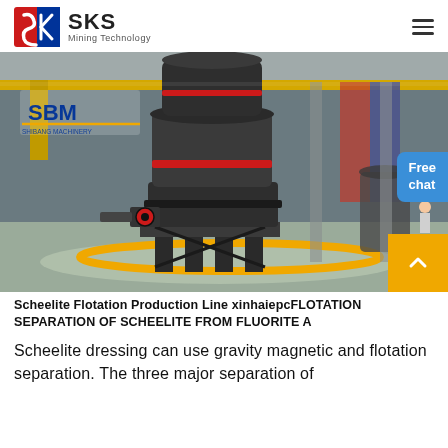SKS Mining Technology
[Figure (photo): Industrial mining machine (Raymond mill / grinding mill) inside a large factory/warehouse. SBM Shibang Machinery logo visible in the top-left of the photo. A 'Free chat' blue bubble and a yellow scroll-up button overlay the image.]
Scheelite Flotation Production Line xinhaiepcFLOTATION SEPARATION OF SCHEELITE FROM FLUORITE A
Scheelite dressing can use gravity magnetic and flotation separation. The three major separation of